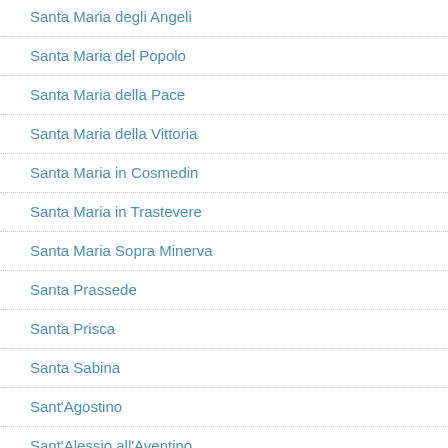Santa Maria degli Angeli
Santa Maria del Popolo
Santa Maria della Pace
Santa Maria della Vittoria
Santa Maria in Cosmedin
Santa Maria in Trastevere
Santa Maria Sopra Minerva
Santa Prassede
Santa Prisca
Santa Sabina
Sant'Agostino
Sant'Alessio all'Aventino
Sant'Anselmo